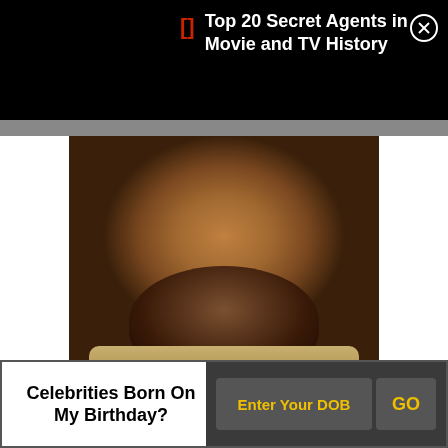[] Top 20 Secret Agents in Movie and TV History
[Figure (photo): Close-up portrait photo of a heavyset Black man with a beard, wearing a plaid/checkered shirt, looking slightly downward]
[Figure (other): Two voting buttons: blue upvote button with up arrow and red downvote button with down arrow]
Celebrities Born On My Birthday?
Enter Your DOB
GO